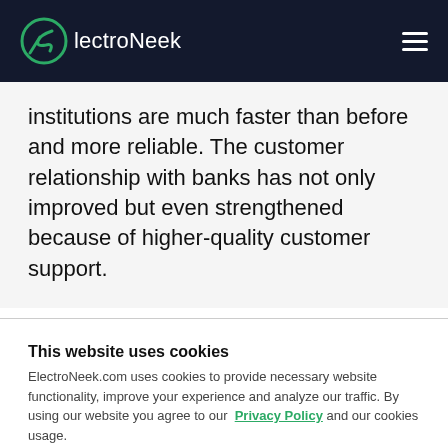ElectroNeek
institutions are much faster than before and more reliable. The customer relationship with banks has not only improved but even strengthened because of higher-quality customer support.
This website uses cookies
ElectroNeek.com uses cookies to provide necessary website functionality, improve your experience and analyze our traffic. By using our website you agree to our Privacy Policy and our cookies usage.
Accept All Cookies